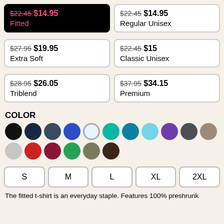$22.45 $14.95 Fitted
$22.45 $14.95 Regular Unisex
$27.95 $19.95 Extra Soft
$22.45 $15 Classic Unisex
$28.95 $26.05 Triblend
$37.95 $34.15 Premium
COLOR
[Figure (infographic): Color swatches: black, navy, dark navy, royal blue, white (selected), teal, dark teal, light blue, purple, dark gray, tan/taupe, light gray, red, burgundy, green, olive, dark brown]
S  M  L  XL  2XL
The fitted t-shirt is an everyday staple. Features 100% preshrunk